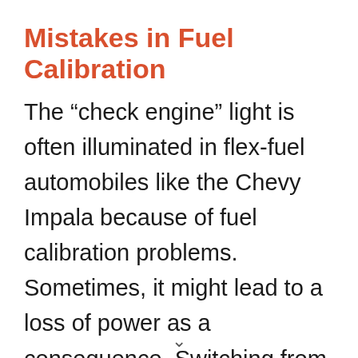Mistakes in Fuel Calibration
The “check engine” light is often illuminated in flex-fuel automobiles like the Chevy Impala because of fuel calibration problems. Sometimes, it might lead to a loss of power as a consequence. Switching from one kind of gasoline to another without allowing the vehicle the time to acclimate might result in this problem. You may reset the fuel